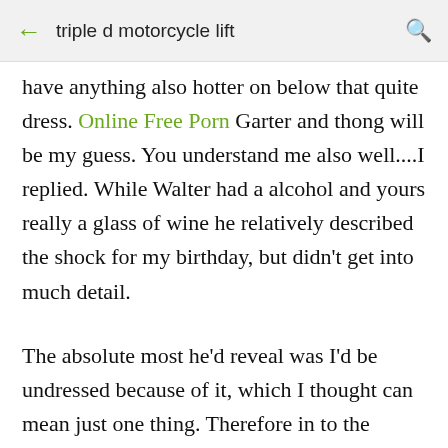triple d motorcycle lift
have anything also hotter on below that quite dress. Online Free Porn Garter and thong will be my guess. You understand me also well....I replied. While Walter had a alcohol and yours really a glass of wine he relatively described the shock for my birthday, but didn't get into much detail.
The absolute most he'd reveal was I'd be undressed because of it, which I thought can mean just one thing. Therefore in to the bedroom we gone wherever I eliminated the dress. When he found my dark thong and garter he explained to